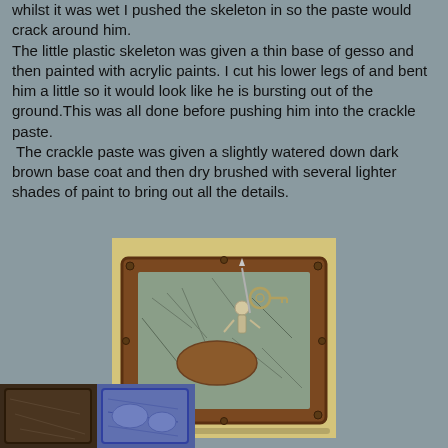whilst it was wet I pushed the skeleton in so the paste would crack around him. The little plastic skeleton was given a thin base of gesso and then painted with acrylic paints. I cut his lower legs of and bent him a little so it would look like he is bursting out of the ground.This was all done before pushing him into the crackle paste.  The crackle paste was given a slightly watered down dark brown base coat and then dry brushed with several lighter shades of paint to bring out all the details.
[Figure (photo): A miniature diorama scene showing a rectangular rusted metal frame with crackled grey paste texture inside. A small skeleton figure appears to be bursting out of the ground, with a metal probe or tool nearby. Photographed on a yellow surface.]
[Figure (photo): Bottom partial photo showing what appears to be two small diorama bases side by side - one darker/wooden and one blue with texture detail.]